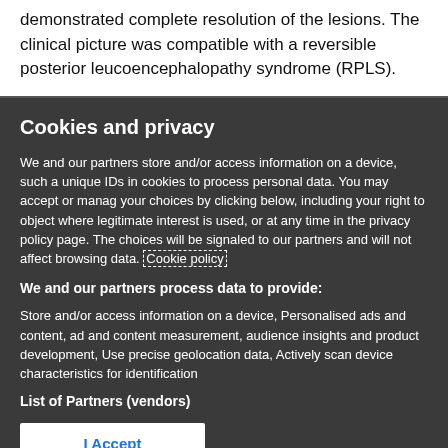demonstrated complete resolution of the lesions. The clinical picture was compatible with a reversible posterior leucoencephalopathy syndrome (RPLS).
Cookies and privacy
We and our partners store and/or access information on a device, such as unique IDs in cookies to process personal data. You may accept or manage your choices by clicking below, including your right to object where legitimate interest is used, or at any time in the privacy policy page. These choices will be signaled to our partners and will not affect browsing data. Cookie policy
We and our partners process data to provide:
Store and/or access information on a device, Personalised ads and content, ad and content measurement, audience insights and product development, Use precise geolocation data, Actively scan device characteristics for identification
List of Partners (vendors)
I Accept